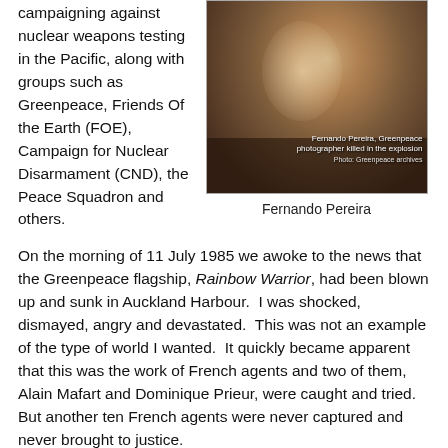campaigning against nuclear weapons testing in the Pacific, along with groups such as Greenpeace, Friends Of the Earth (FOE), Campaign for Nuclear Disarmament (CND), the Peace Squadron and others.
[Figure (photo): Black and white photo of Fernando Pereira, Greenpeace photographer killed in the explosion. Photo credit: Greenpeace archives.]
Fernando Pereira
On the morning of 11 July 1985 we awoke to the news that the Greenpeace flagship, Rainbow Warrior, had been blown up and sunk in Auckland Harbour. I was shocked, dismayed, angry and devastated. This was not an example of the type of world I wanted. It quickly became apparent that this was the work of French agents and two of them, Alain Mafart and Dominique Prieur, were caught and tried. But another ten French agents were never captured and never brought to justice.
Now, thirty years later, one of those remaining ten agents